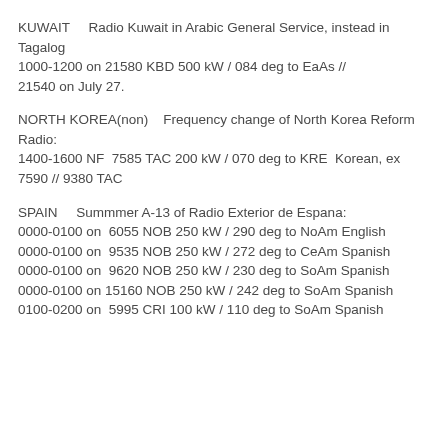KUWAIT    Radio Kuwait in Arabic General Service, instead in Tagalog
1000-1200 on 21580 KBD 500 kW / 084 deg to EaAs // 21540 on July 27.
NORTH KOREA(non)   Frequency change of North Korea Reform Radio:
1400-1600 NF  7585 TAC 200 kW / 070 deg to KRE  Korean, ex 7590 // 9380 TAC
SPAIN    Summmer A-13 of Radio Exterior de Espana:
0000-0100 on  6055 NOB 250 kW / 290 deg to NoAm English
0000-0100 on  9535 NOB 250 kW / 272 deg to CeAm Spanish
0000-0100 on  9620 NOB 250 kW / 230 deg to SoAm Spanish
0000-0100 on 15160 NOB 250 kW / 242 deg to SoAm Spanish
0100-0200 on  5995 CRI 100 kW / 110 deg to SoAm Spanish